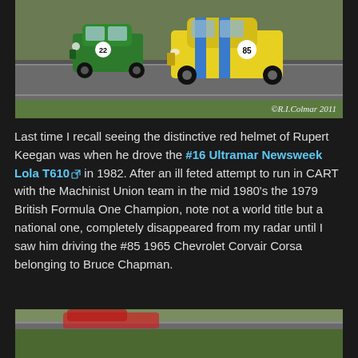[Figure (photo): Racing cars on a track — a green Mini (#22) and a yellow Chevrolet Corvair Corsa (#85) with blue stripes racing on a circuit. Copyright watermark: ©R.I.Colmar 2011]
Last time I recall seeing the distinctive red helmet of Rupert Keegan was when he drove the #16 Ultramar Newsweek Lola T610 [external link] in 1982. After an ill feted attempt to run in CART with the Machinist Union team in the mid 1980's the 1979 British Formula One Champion, note not a world title but a national one, completely disappeared from my radar until I saw him driving the #85 1965 Chevrolet Corvair Corsa belonging to Bruce Chapman.
[Figure (photo): Partial view of a racing car on a green grass circuit track, bottom of page.]